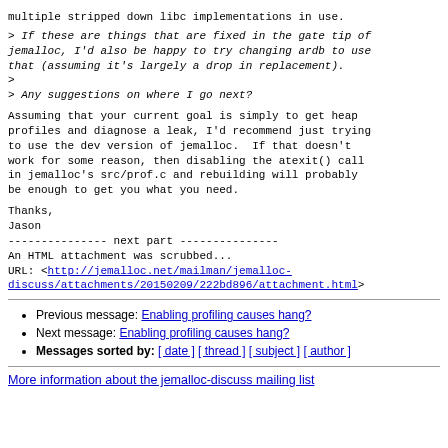multiple stripped down libc implementations in use.
> If these are things that are fixed in the gate tip of jemalloc, I'd also be happy to try changing ardb to use that (assuming it's largely a drop in replacement).
>
> Any suggestions on where I go next?
Assuming that your current goal is simply to get heap profiles and diagnose a leak, I'd recommend just trying to use the dev version of jemalloc.  If that doesn't work for some reason, then disabling the atexit() call in jemalloc's src/prof.c and rebuilding will probably be enough to get you what you need.
Thanks,
Jason
--------------- next part ---------------
An HTML attachment was scrubbed...
URL: <http://jemalloc.net/mailman/jemalloc-discuss/attachments/20150209/222bd896/attachment.html>
Previous message: Enabling profiling causes hang?
Next message: Enabling profiling causes hang?
Messages sorted by: [ date ] [ thread ] [ subject ] [ author ]
More information about the jemalloc-discuss mailing list